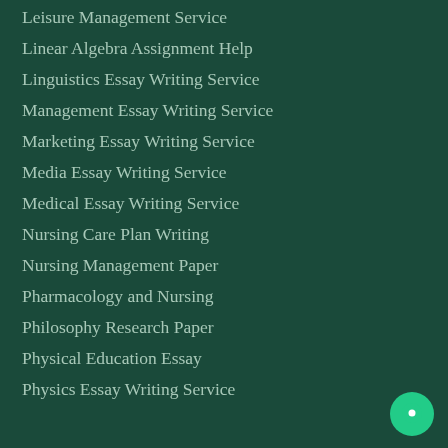Leisure Management Service
Linear Algebra Assignment Help
Linguistics Essay Writing Service
Management Essay Writing Service
Marketing Essay Writing Service
Media Essay Writing Service
Medical Essay Writing Service
Nursing Care Plan Writing
Nursing Management Paper
Pharmacology and Nursing
Philosophy Research Paper
Physical Education Essay
Physics Essay Writing Service